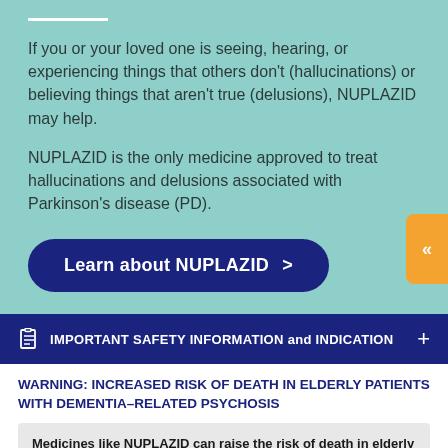If you or your loved one is seeing, hearing, or experiencing things that others don't (hallucinations) or believing things that aren't true (delusions), NUPLAZID may help.
NUPLAZID is the only medicine approved to treat hallucinations and delusions associated with Parkinson's disease (PD).
Learn about NUPLAZID >
IMPORTANT SAFETY INFORMATION and INDICATION
WARNING: INCREASED RISK OF DEATH IN ELDERLY PATIENTS WITH DEMENTIA–RELATED PSYCHOSIS
Medicines like NUPLAZID can raise the risk of death in elderly people who have lost touch with reality (psychosis) due to confusion and memory loss (dementia).